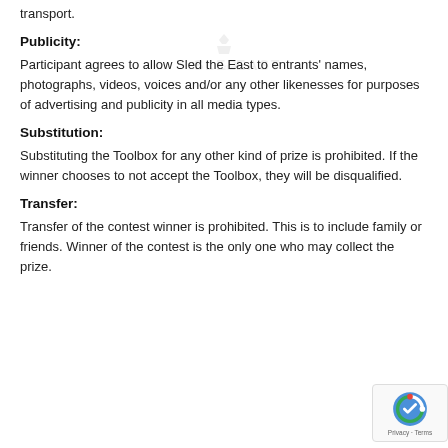transport.
Publicity:
Participant agrees to allow Sled the East to entrants' names, photographs, videos, voices and/or any other likenesses for purposes of advertising and publicity in all media types.
Substitution:
Substituting the Toolbox for any other kind of prize is prohibited. If the winner chooses to not accept the Toolbox, they will be disqualified.
Transfer:
Transfer of the contest winner is prohibited. This is to include family or friends. Winner of the contest is the only one who may collect the prize.